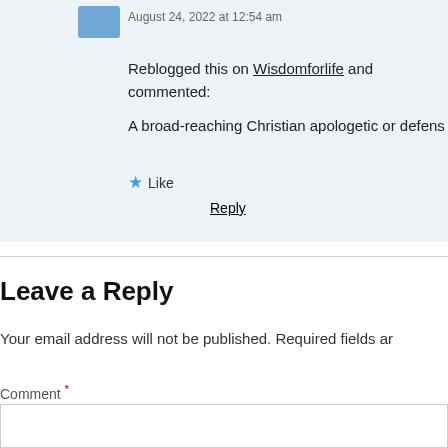August 24, 2022 at 12:54 am
Reblogged this on Wisdomforlife and commented:
A broad-reaching Christian apologetic or defens
Like
Reply
Leave a Reply
Your email address will not be published. Required fields ar
Comment *